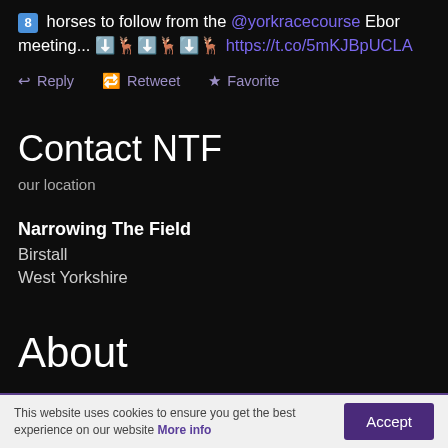8 horses to follow from the @yorkracecourse Ebor meeting... ⬇️🎠⬇️🎠⬇️🎠 https://t.co/5mKJBpUCLA
↩ Reply 🔁 Retweet ★ Favorite
Contact NTF
our location
Narrowing The Field
Birstall
West Yorkshire
About
This website uses cookies to ensure you get the best experience on our website More info
Accept